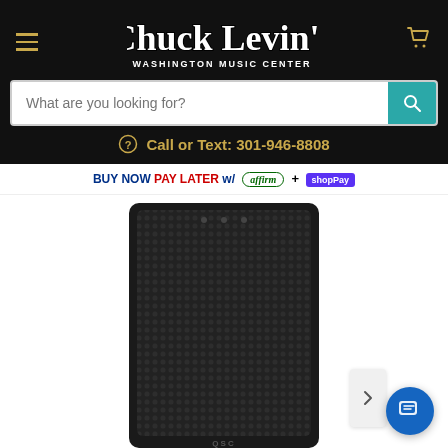[Figure (logo): Chuck Levin's Washington Music Center logo in white cursive script on dark background]
What are you looking for?
Call or Text: 301-946-8808
BUY NOW PAY LATER w/ affirm + shopPay
[Figure (photo): Black professional speaker/PA cabinet with mesh grille, front view on white background]